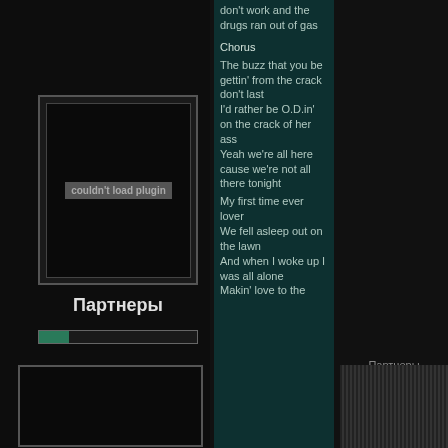[Figure (screenshot): Couldn't load plugin box - dark UI widget]
Партнеры
don't work and the drugs ran out of gas
Chorus
The buzz that you be gettin' from the crack don't last I'd rather be O.D.in' on the crack of her ass Yeah we're all here cause we're not all there tonight
My first time ever lover We fell asleep out on the lawn And when I woke up I was all alone Makin' love to the
Партнеры